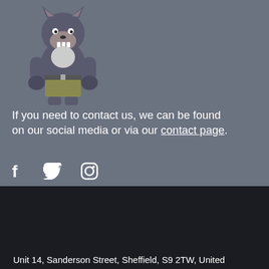[Figure (illustration): Cartoon mascot character - an anthropomorphic wolf/badger creature wearing a grey shirt and khaki shorts, standing with fists raised, showing teeth]
If you need to contact us, we can be found on our social media or via our contact page.
[Figure (infographic): Social media icons: Facebook (f), Twitter (bird), Instagram (camera circle)]
[Figure (infographic): Payment method logos: VISA, Mastercard, Maestro, American Express, Discover, Apple Pay, Google Pay, PayPal, Klarna, Clearpay]
Unit 14, Sanderson Street, Sheffield, S9 2TW, United